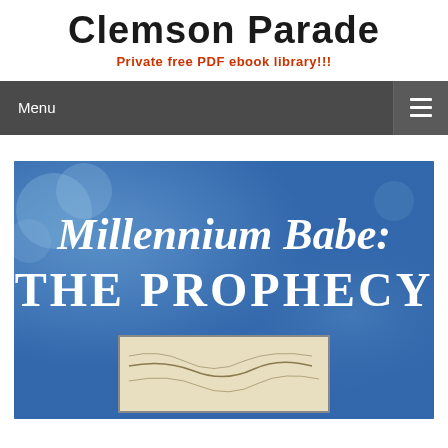Clemson Parade
Private free PDF ebook library!!!
Menu
[Figure (illustration): Book cover for 'Millennium Babe: THE PROPHECY' showing a blue background with white text and a map inset at the bottom]